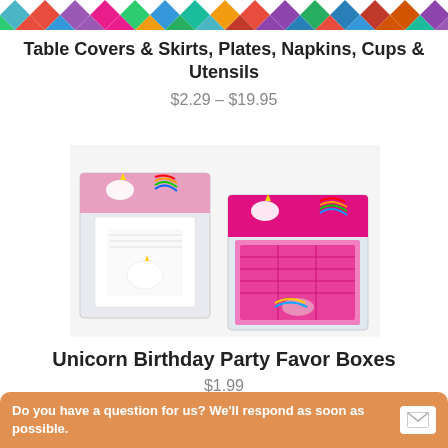[Figure (photo): Colorful diamond/rhombus pattern banner at the top of the page in various colors]
Table Covers & Skirts, Plates, Napkins, Cups & Utensils
$2.29 – $19.95
[Figure (photo): Two packages of unicorn party favor boxes – one white with unicorn design and one pink with unicorn design, both packaged in clear plastic bags with colorful headers]
Unicorn Birthday Party Favor Boxes
$1.99
Do you have a question for us? We&#039;ll respond as soon as possible.